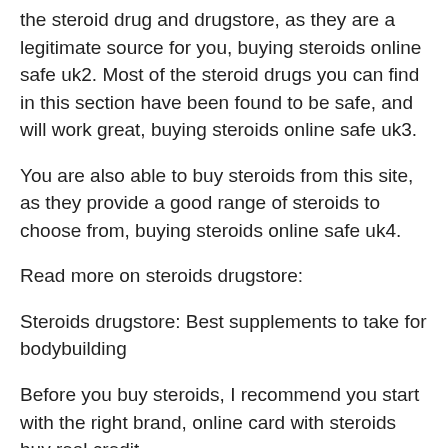the steroid drug and drugstore, as they are a legitimate source for you, buying steroids online safe uk2. Most of the steroid drugs you can find in this section have been found to be safe, and will work great, buying steroids online safe uk3.
You are also able to buy steroids from this site, as they provide a good range of steroids to choose from, buying steroids online safe uk4.
Read more on steroids drugstore:
Steroids drugstore: Best supplements to take for bodybuilding
Before you buy steroids, I recommend you start with the right brand, online card with steroids buy real credit.